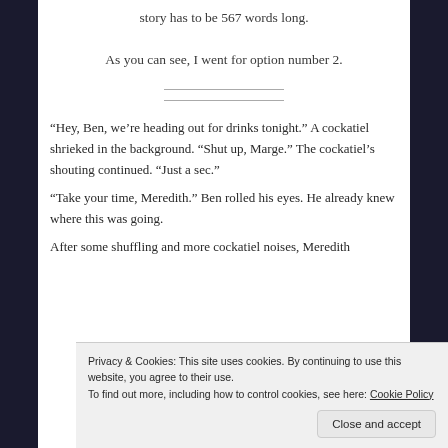story has to be 567 words long.
As you can see, I went for option number 2.
“Hey, Ben, we’re heading out for drinks tonight.” A cockatiel shrieked in the background. “Shut up, Marge.” The cockatiel’s shouting continued. “Just a sec.”
“Take your time, Meredith.” Ben rolled his eyes. He already knew where this was going.
After some shuffling and more cockatiel noises, Meredith
Privacy & Cookies: This site uses cookies. By continuing to use this website, you agree to their use. To find out more, including how to control cookies, see here: Cookie Policy
then.”